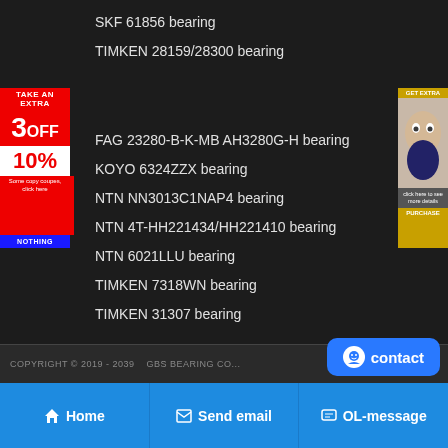SKF 61856 bearing
TIMKEN 28159/28300 bearing
[Figure (other): Red promotional banner ad: TAKE AN EXTRA 3 OFF 10% with description text and blue NOTHING button]
[Figure (other): Right side advertisement banner showing a woman's face with text]
FAG 23280-B-K-MB AH3280G-H bearing
KOYO 6324ZZX bearing
NTN NN3013C1NAP4 bearing
NTN 4T-HH221434/HH221410 bearing
NTN 6021LLU bearing
TIMKEN 7318WN bearing
TIMKEN 31307 bearing
COPYRIGHT © 2019 - 2039   GBS BEARING CO...
[Figure (other): Contact button with smiley face icon]
Home | Send email | OL-message